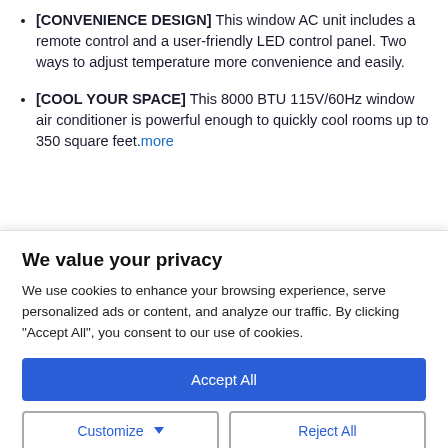[CONVENIENCE DESIGN] This window AC unit includes a remote control and a user-friendly LED control panel. Two ways to adjust temperature more convenience and easily.
[COOL YOUR SPACE] This 8000 BTU 115V/60Hz window air conditioner is powerful enough to quickly cool rooms up to 350 square feet. more
We value your privacy
We use cookies to enhance your browsing experience, serve personalized ads or content, and analyze our traffic. By clicking "Accept All", you consent to our use of cookies.